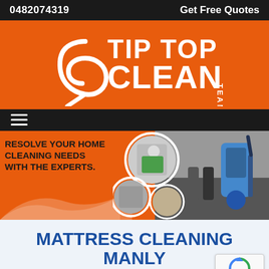0482074319   Get Free Quotes
[Figure (logo): Tip Top Clean Team logo on orange background with stylized 9/hook graphic in white]
[Figure (other): Navigation bar with hamburger menu icon on dark background]
[Figure (illustration): Banner with text RESOLVE YOUR HOME CLEANING NEEDS WITH THE EXPERTS. and circular images of cleaning workers plus photo of carpet cleaning machine on right]
MATTRESS CLEANING MANLY
Home /  Mattress Cleaning QLD /  Mattress Cleaning